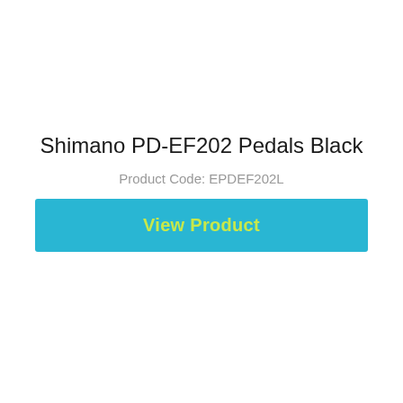Shimano PD-EF202 Pedals Black
Product Code: EPDEF202L
View Product